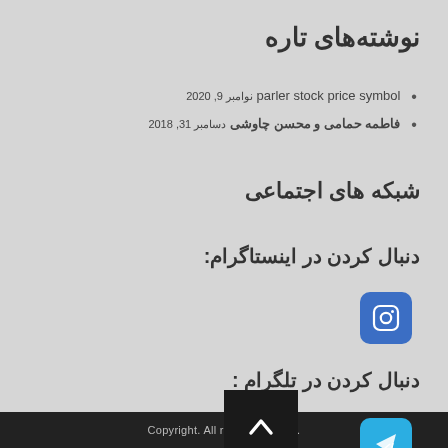نوشته‌های تاره
parler stock price symbol نوامبر 9, 2020
فاطمه حمامی و محسن چاوشی دسامبر 31, 2018
شبکه های اجتماعی
دنبال کردن در اینستاگرام:
[Figure (logo): Instagram icon button (blue rounded square)]
دنبال کردن در تلگرام :
[Figure (logo): Scroll to top button (dark square with up arrow)]
[Figure (logo): Telegram icon button (blue rounded square)]
Copyright. All rights reserved.